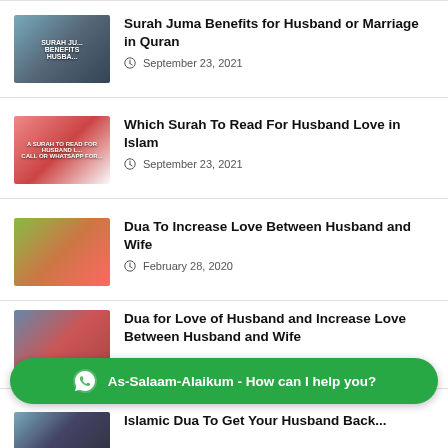Surah Juma Benefits for Husband or Marriage in Quran
September 23, 2021
Which Surah To Read For Husband Love in Islam
September 23, 2021
Dua To Increase Love Between Husband and Wife
February 28, 2020
Dua for Love of Husband and Increase Love Between Husband and Wife
[Figure (infographic): WhatsApp chat button bar: green rounded rectangle with WhatsApp icon and text 'As-Salaam-Alaikum - How can I help you?']
Islamic Dua To Get Your Husband Back...